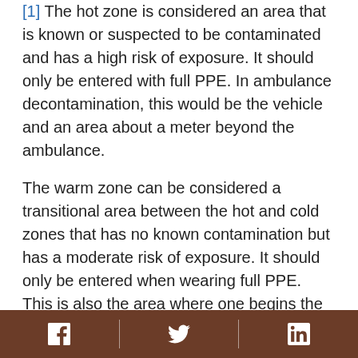[1] The hot zone is considered an area that is known or suspected to be contaminated and has a high risk of exposure. It should only be entered with full PPE. In ambulance decontamination, this would be the vehicle and an area about a meter beyond the ambulance.
The warm zone can be considered a transitional area between the hot and cold zones that has no known contamination but has a moderate risk of exposure. It should only be entered when wearing full PPE. This is also the area where one begins the initial portion of the doffing process (following a full suit wipe down within the hot zone) when leaving the hot zone. For ambulance decontamination, the warm zone can also be the place where waste barrels are pre-positioned so that the waste bags can be placed directly into the
[Facebook icon] [Twitter icon] [LinkedIn icon]